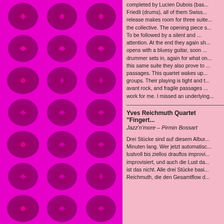[Figure (illustration): Left column with bright magenta/pink background filled with a grid of circular vinyl record icons arranged in rows and columns. Records are dark purple/maroon circles with center labels visible.]
completed by Lucien Dubois (bas... Friedli (drums), all of them Swiss... release makes room for three suite... the collective. The opening piece s... To be followed by a silent and ... attention. At the end they again sh... opens with a bluesy guitar, soon ... drummer sets in, again for what on... this same suite they also prove to ... passages. This quartet wakes up... groups. Their playing is tight and t... avant rock, and fragile passages ... work for me. I missed an underlying...
Yves Reichmuth Quartet "Fingert...
Jazz'n'more – Pirmin Bossart
Drei Stücke sind auf diesem Albu... Minuten lang. Wer jetzt automatisc... lustvoll bis ziellos drauflos improvi... improvisiert, und auch die Lust da... ist das nicht. Alle drei Stücke basi... Reichmuth, die den Gesamtflow d...